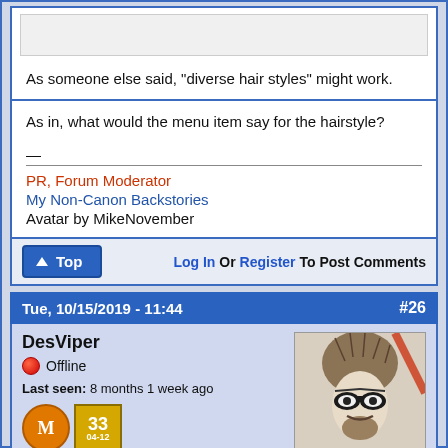As someone else said, "diverse hair styles" might work.
As in, what would the menu item say for the hairstyle?
PR, Forum Moderator
My Non-Canon Backstories
Avatar by MikeNovember
↑ Top   Log In Or Register To Post Comments
Tue, 10/15/2019 - 11:44   #26
DesViper
Offline
Last seen: 8 months 1 week ago
[Figure (illustration): User avatar showing a masked character with wild hair, drawn in pencil/ink style]